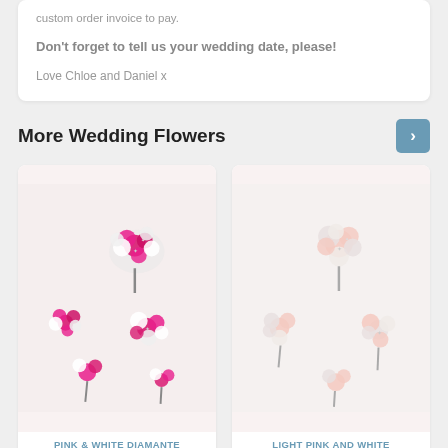custom order invoice to pay.
Don’t forget to tell us your wedding date, please!
Love Chloe and Daniel x
More Wedding Flowers
[Figure (photo): Pink and white diamante wedding flower bouquets arranged on a white background]
PINK & WHITE DIAMANTE
[Figure (photo): Light pink and white wedding flower bouquets arranged on a white background]
LIGHT PINK AND WHITE